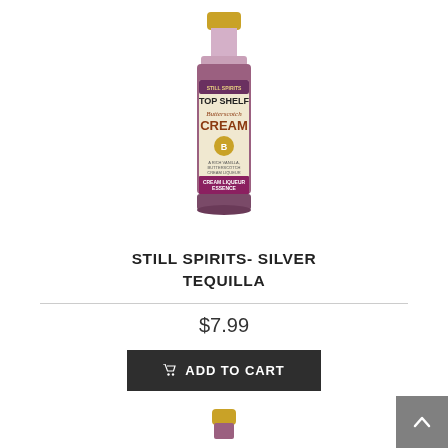[Figure (photo): A small bottle of Still Spirits Top Shelf Butterscotch Cream liqueur essence with a gold cap and purple/cream label]
STILL SPIRITS- SILVER TEQUILLA
$7.99
ADD TO CART
[Figure (photo): Top of another product bottle visible at the bottom of the page]